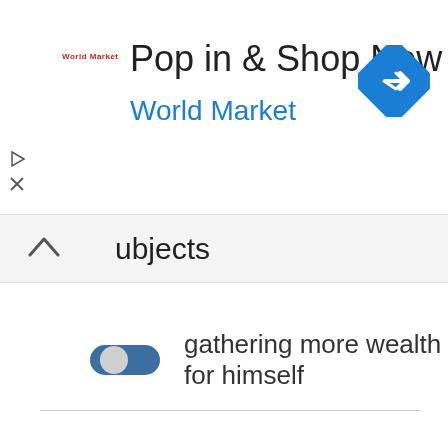[Figure (screenshot): Advertisement banner for World Market with text 'Pop in & Shop New Arrivals' and 'World Market' subtitle, World Market logo top left, blue diamond navigation icon top right, play and close icons on the left side]
ubjects
gathering more wealth for himself